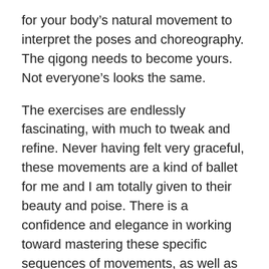for your body's natural movement to interpret the poses and choreography. The qigong needs to become yours. Not everyone's looks the same.
The exercises are endlessly fascinating, with much to tweak and refine. Never having felt very graceful, these movements are a kind of ballet for me and I am totally given to their beauty and poise. There is a confidence and elegance in working toward mastering these specific sequences of movements, as well as a charm that feels quite sacred and definitely invigorating.
Mastering the requisite discipline to practice everyday is a challenge in that my day seems already so fully circumscribed with the responsibilities of work and family. But if I am to reach ten thousand times to perfect the movements, I need to redouble (perhaps retriple is more